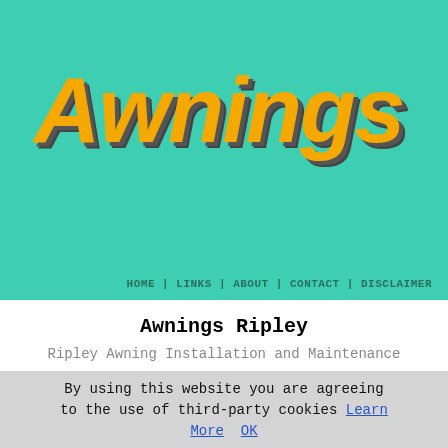Awnings
HOME | LINKS | ABOUT | CONTACT | DISCLAIMER
Awnings Ripley
Ripley Awning Installation and Maintenance
Awning Installers Ripley Derbyshire (DE5): An awning makes a great addition to your business or home in Ripley, providing protection and shade from the sun and rain, as and when needed. To ensure your confidence and peace of mind when using it, you ought to get your awning installed professionally, and with a solid guarantee against mechanical and structural malfunctions.
[Figure (other): Cyan/turquoise call-to-action button with red italic bold text reading 'Get a Quote']
Several awning installation
By using this website you are agreeing to the use of third-party cookies Learn More OK